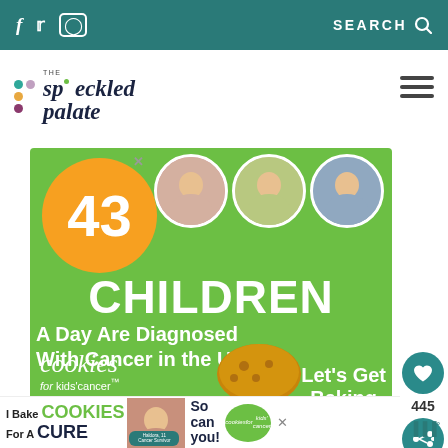f  Twitter  Instagram   SEARCH
[Figure (logo): The Speckled Palate logo with colorful dots and italic serif text]
[Figure (illustration): Advertisement: 43 Children A Day Are Diagnosed With Cancer in the U.S. - Cookies for Kids' Cancer, Let's Get Baking]
[Figure (infographic): I Bake COOKIES For A CURE - Haldora, 11 Cancer Survivor - So can you! - Cookies for Kids' Cancer bottom banner ad]
WHAT'S NEXT → Thanksgiving Turkey...